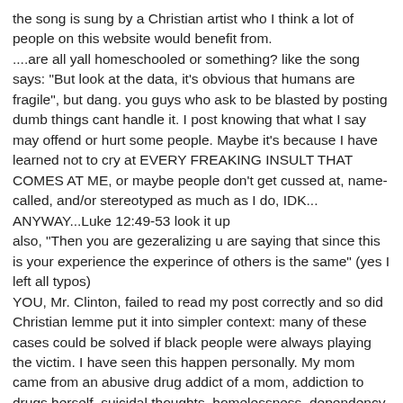the song is sung by a Christian artist who I think a lot of people on this website would benefit from.
....are all yall homeschooled or something? like the song says: "But look at the data, it's obvious that humans are fragile", but dang. you guys who ask to be blasted by posting dumb things cant handle it. I post knowing that what I say may offend or hurt some people. Maybe it's because I have learned not to cry at EVERY FREAKING INSULT THAT COMES AT ME, or maybe people don't get cussed at, name-called, and/or stereotyped as much as I do, IDK...
ANYWAY...Luke 12:49-53 look it up
also, "Then you are gezeralizing u are saying that since this is your experience the experince of others is the same" (yes I left all typos)
YOU, Mr. Clinton, failed to read my post correctly and so did Christian lemme put it into simpler context: many of these cases could be solved if black people were always playing the victim. I have seen this happen personally. My mom came from an abusive drug addict of a mom, addiction to drugs herself, suicidal thoughts, homelessness, dependency upon welfare, VOTING FOR OBAMA, fleeing from an abusive fiance ( I was two), and raising two children on her own from now owning her second house, having a mom that loves her, me and my sister having grandparents who love us for the first time, having a husband who loves her, accepting Christ into her life, VOTING FOR TRUMP and a lot more. It's funny because she made a life for her and her children by tossing out